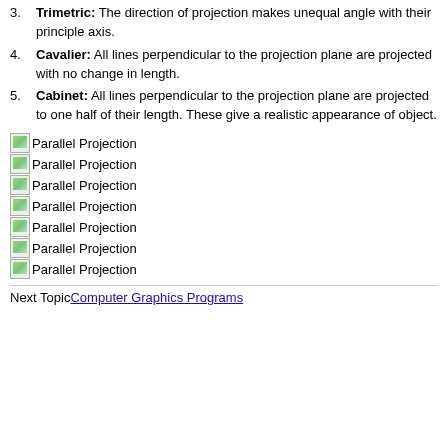3. Trimetric: The direction of projection makes unequal angle with their principle axis.
4. Cavalier: All lines perpendicular to the projection plane are projected with no change in length.
5. Cabinet: All lines perpendicular to the projection plane are projected to one half of their length. These give a realistic appearance of object.
[Figure (illustration): Broken image placeholder labeled Parallel Projection (1 of 7)]
[Figure (illustration): Broken image placeholder labeled Parallel Projection (2 of 7)]
[Figure (illustration): Broken image placeholder labeled Parallel Projection (3 of 7)]
[Figure (illustration): Broken image placeholder labeled Parallel Projection (4 of 7)]
[Figure (illustration): Broken image placeholder labeled Parallel Projection (5 of 7)]
[Figure (illustration): Broken image placeholder labeled Parallel Projection (6 of 7)]
[Figure (illustration): Broken image placeholder labeled Parallel Projection (7 of 7)]
Next TopicComputer Graphics Programs